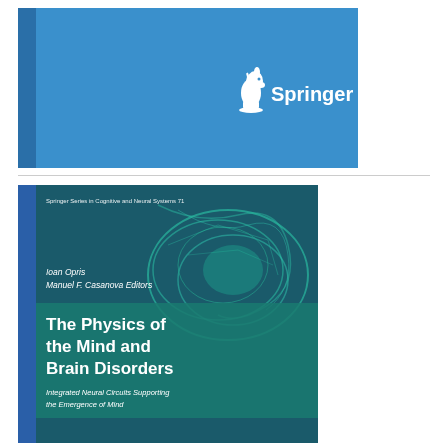[Figure (illustration): Top portion of a Springer book cover with blue background and Springer logo (horse chess piece icon) in white text on the right side]
[Figure (illustration): Book cover for 'The Physics of the Mind and Brain Disorders: Integrated Neural Circuits Supporting the Emergence of Mind' edited by Ioan Opris and Manuel F. Casanova. Springer Series in Cognitive and Neural Systems, 71. Cover shows teal/green brain imagery on blue background with large white title text.]